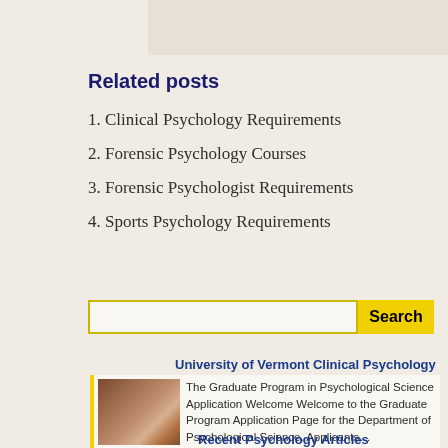Related posts
1. Clinical Psychology Requirements
2. Forensic Psychology Courses
3. Forensic Psychologist Requirements
4. Sports Psychology Requirements
[Figure (other): Search input box with yellow Search button]
University of Vermont Clinical Psychology
The Graduate Program in Psychological Science Application Welcome Welcome to the Graduate Program Application Page for the Department of Psychological Science. Applicants…
Recent Psychology Articles